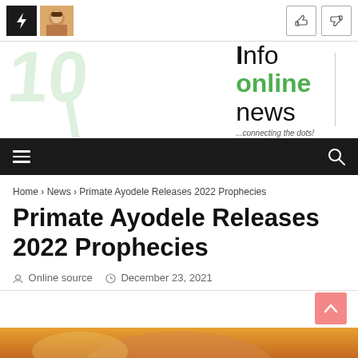Top navigation bar with lightning icon, thumbnail image, and thumbs-up icons
[Figure (logo): Info Online News logo with watermark and tagline '...connecting the dots!']
Navigation bar with hamburger menu and search icon
Home > News > Primate Ayodele Releases 2022 Prophecies
Primate Ayodele Releases 2022 Prophecies
Online source   December 23, 2021
[Figure (photo): Partial bottom image strip, appears to be a photo]